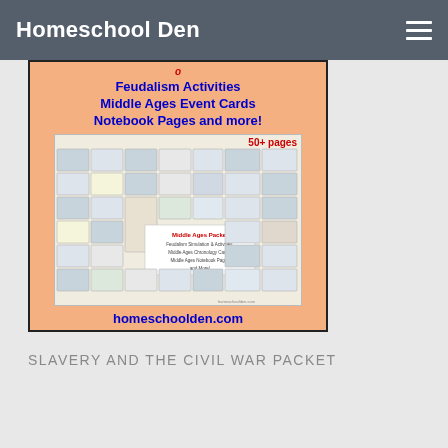Homeschool Den
[Figure (illustration): Promotional image for Middle Ages Packet featuring feudalism activities, middle ages event cards, notebook pages and more. Shows 50+ pages of materials with preview thumbnails of included pages. URL: homeschoolden.com]
SLAVERY AND THE CIVIL WAR PACKET